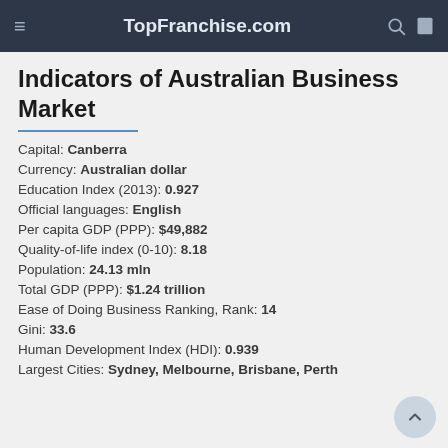TopFranchise.com
Indicators of Australian Business Market
Capital: Canberra
Currency: Australian dollar
Education Index (2013): 0.927
Official languages: English
Per capita GDP (PPP): $49,882
Quality-of-life index (0-10): 8.18
Population: 24.13 mln
Total GDP (PPP): $1.24 trillion
Ease of Doing Business Ranking, Rank: 14
Gini: 33.6
Human Development Index (HDI): 0.939
Largest Cities: Sydney, Melbourne, Brisbane, Perth